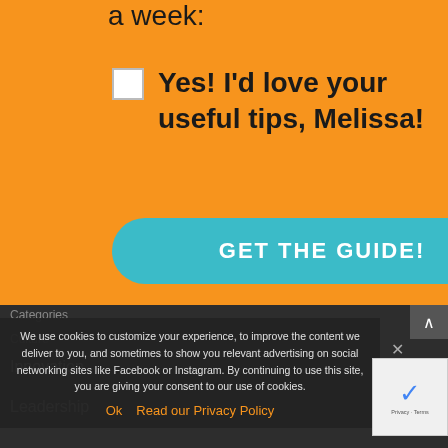a week:
Yes! I'd love your useful tips, Melissa!
GET THE GUIDE!
We won't send you spam. Unsubscribe at any time.
We use cookies to customize your experience, to improve the content we deliver to you, and sometimes to show you relevant advertising on social networking sites like Facebook or Instagram. By continuing to use this site, you are giving your consent to our use of cookies.
Ok  Read our Privacy Policy
Categories
Culture
Innovation
Leadership